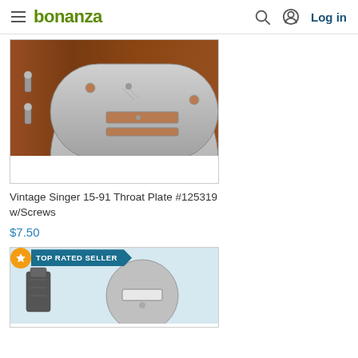bonanza — Log in
[Figure (photo): Vintage Singer 15-91 Throat Plate #125319 with screws on a wooden surface]
Vintage Singer 15-91 Throat Plate #125319 w/Screws
$7.50
[Figure (photo): Second product listing with TOP RATED SELLER badge — sewing machine parts on blue background]